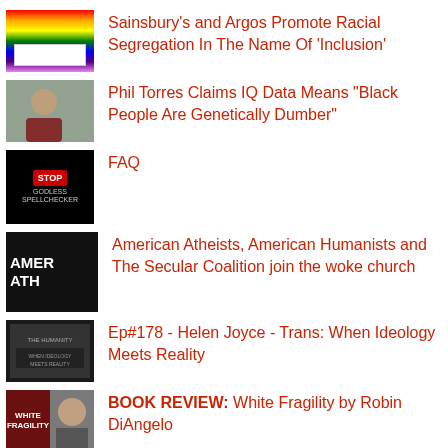Sainsbury's and Argos Promote Racial Segregation In The Name Of 'Inclusion'
Phil Torres Claims IQ Data Means "Black People Are Genetically Dumber"
FAQ
American Atheists, American Humanists and The Secular Coalition join the woke church
Ep#178 - Helen Joyce - Trans: When Ideology Meets Reality
BOOK REVIEW: White Fragility by Robin DiAngelo
'Muslim' Woman Singled Out In Viral London Terror Photo